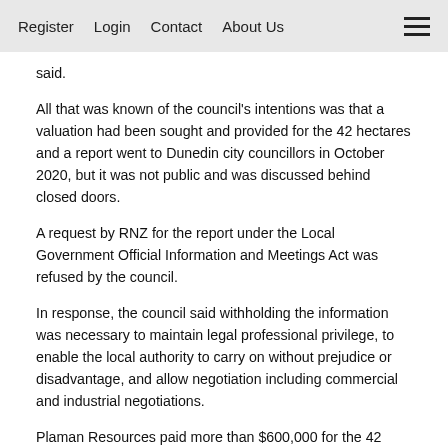Register  Login  Contact  About Us
said.
All that was known of the council's intentions was that a valuation had been sought and provided for the 42 hectares and a report went to Dunedin city councillors in October 2020, but it was not public and was discussed behind closed doors.
A request by RNZ for the report under the Local Government Official Information and Meetings Act was refused by the council.
In response, the council said withholding the information was necessary to maintain legal professional privilege, to enable the local authority to carry on without prejudice or disadvantage, and allow negotiation including commercial and industrial negotiations.
Plaman Resources paid more than $600,000 for the 42 hectares of land and more than $5 million for the mining company associated with the permits to take the diatomite.
They are considered the primary conditions of...